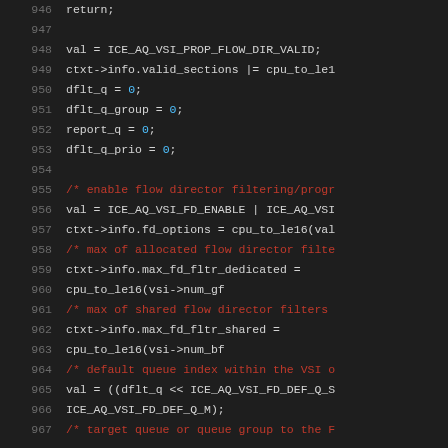[Figure (screenshot): Source code listing lines 946-967 showing C code for ICE network driver, setting VSI flow director properties. Dark theme code editor with line numbers in gray, comments in red, numeric literals in blue, and code in light gray/white.]